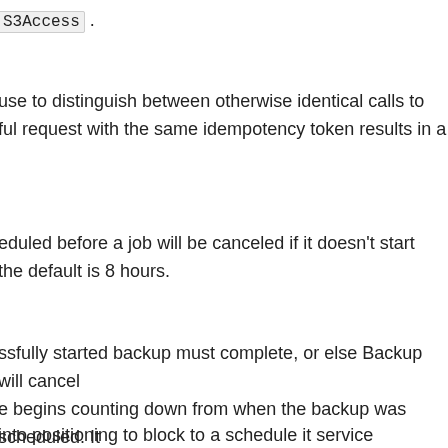S3Access .
use to distinguish between otherwise identical calls to
ful request with the same idempotency token results in a
eduled before a job will be canceled if it doesn't start
the default is 8 hours.
ssfully started backup must complete, or else Backup will cancel
e begins counting down from when the backup was scheduled. It
WindowMinutes , or if the backup started later than scheduled.
into positioning to block to a schedule it service